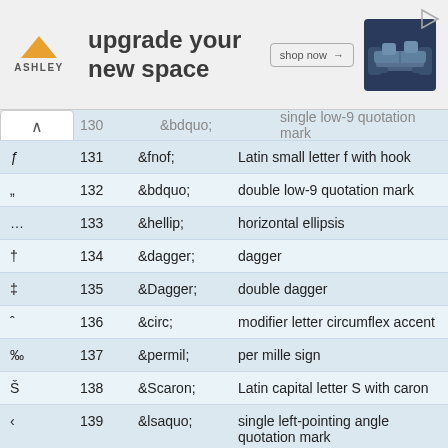[Figure (other): Ashley Furniture advertisement banner: orange triangle logo, 'upgrade your new space' text, 'shop now' button, sofa image]
| char | number | entity | description |
| --- | --- | --- | --- |
| ƒ | 131 | &fnof; | Latin small letter f with hook |
| „ | 132 | &bdquo; | double low-9 quotation mark |
| … | 133 | &hellip; | horizontal ellipsis |
| † | 134 | &dagger; | dagger |
| ‡ | 135 | &Dagger; | double dagger |
| ˆ | 136 | &circ; | modifier letter circumflex accent |
| ‰ | 137 | &permil; | per mille sign |
| Š | 138 | &Scaron; | Latin capital letter S with caron |
| ‹ | 139 | &lsaquo; | single left-pointing angle quotation mark |
| Œ | 140 | &OElig; | Latin capital ligature OE |
| not | 141 |  | not used |